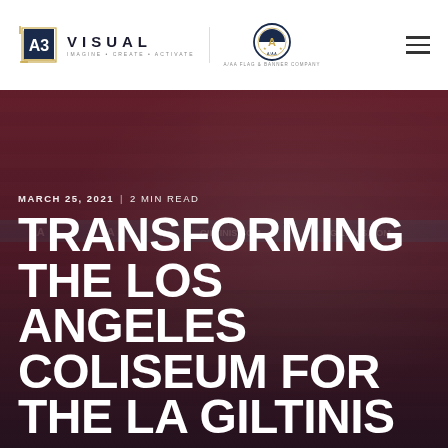[Figure (logo): A3 Visual logo with navy square icon and text VISUAL / IMAGINE • CREATE • ACTIVATE]
[Figure (logo): A/AA Flag and Banner Company circular emblem logo]
[Figure (photo): Rugby match action photo at LA stadium with players competing in a lineout. Background shows stadium seating and advertising boards reading LA and GILTINIS.COM. Overlay text shows article date and title.]
MARCH 25, 2021  |  2 MIN READ
TRANSFORMING THE LOS ANGELES COLISEUM FOR THE LA GILTINIS